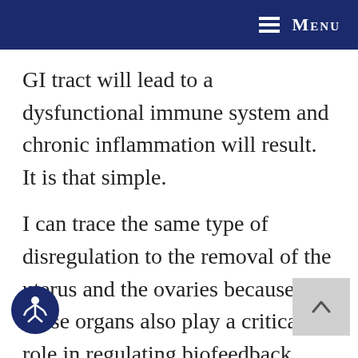Menu
GI tract will lead to a dysfunctional immune system and chronic inflammation will result.  It is that simple.
I can trace the same type of disregulation to the removal of the uterus and the ovaries because those organs also play a critical role in regulating biofeedback loops throughout the body. The body was designed to operate in a certain fashion